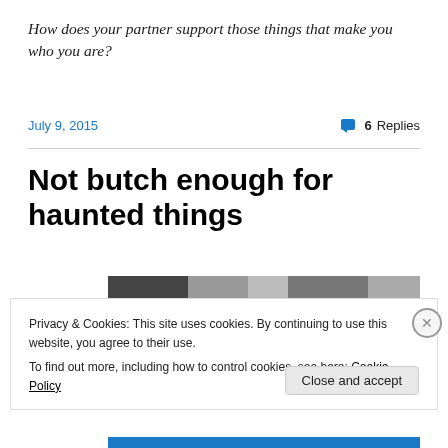How does your partner support those things that make you who you are?
July 9, 2015
6 Replies
Not butch enough for haunted things
[Figure (photo): Partial photo of a person, partially obscured by cookie banner]
Privacy & Cookies: This site uses cookies. By continuing to use this website, you agree to their use.
To find out more, including how to control cookies, see here: Cookie Policy